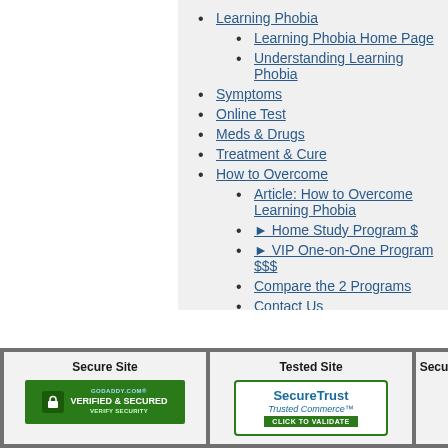Learning Phobia
Learning Phobia Home Page
Understanding Learning Phobia
Symptoms
Online Test
Meds & Drugs
Treatment & Cure
How to Overcome
Article: How to Overcome Learning Phobia
► Home Study Program $
► VIP One-on-One Program $$$
Compare the 2 Programs
Contact Us
[Figure (logo): GoDaddy Verified & Secured badge - green background with lock icon]
Secure Site
[Figure (logo): SecureTrust Trusted Commerce badge - white with green border and CLICK TO VALIDATE button]
Tested Site
Secu...